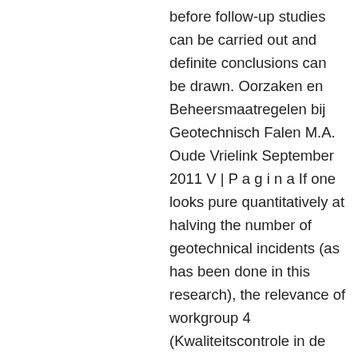before follow-up studies can be carried out and definite conclusions can be drawn. Oorzaken en Beheersmaatregelen bij Geotechnisch Falen M.A. Oude Vrielink September 2011 V | P a g i n a If one looks pure quantitatively at halving the number of geotechnical incidents (as has been done in this research), the relevance of workgroup 4 (Kwaliteitscontrole in de grond gevormde elementen) and 11 (Internationale Samenwerking) towards achieving the Geo-Impuls goal should be reconsidered. With the current program, quantitatively 83% of the 288 identified causes can be